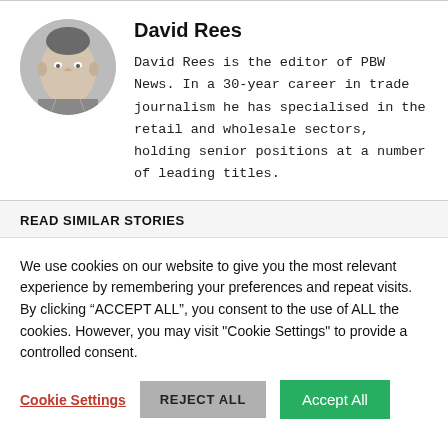[Figure (photo): Circular headshot photo of David Rees, a middle-aged man in black and white]
David Rees
David Rees is the editor of PBW News. In a 30-year career in trade journalism he has specialised in the retail and wholesale sectors, holding senior positions at a number of leading titles.
READ SIMILAR STORIES
We use cookies on our website to give you the most relevant experience by remembering your preferences and repeat visits. By clicking “ACCEPT ALL”, you consent to the use of ALL the cookies. However, you may visit "Cookie Settings" to provide a controlled consent.
Cookie Settings | REJECT ALL | Accept All